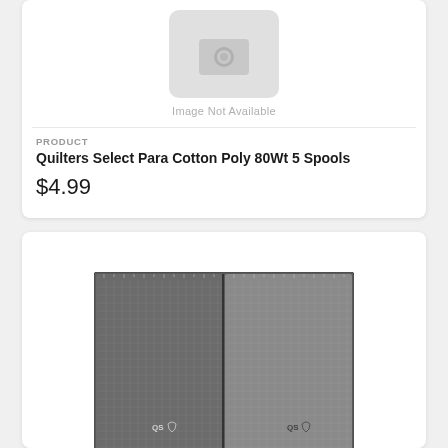[Figure (other): Image Not Available placeholder with camera icon on light gray rounded rectangle]
Image Not Available
PRODUCT
Quilters Select Para Cotton Poly 80Wt 5 Spools
$4.99
[Figure (photo): QS branded cutting mat shown from above, dark gridded surface on left half and lighter gridded surface on right half, with QS logos visible on both sides]